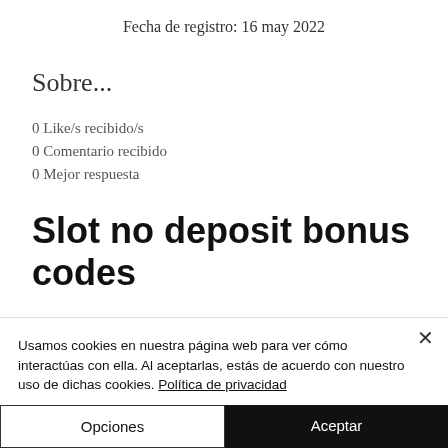Fecha de registro: 16 may 2022
Sobre...
0 Like/s recibido/s
0 Comentario recibido
0 Mejor respuesta
Slot no deposit bonus codes
Slot no deposit bonus codes
Usamos cookies en nuestra página web para ver cómo interactúas con ella. Al aceptarlas, estás de acuerdo con nuestro uso de dichas cookies. Política de privacidad
Opciones
Aceptar